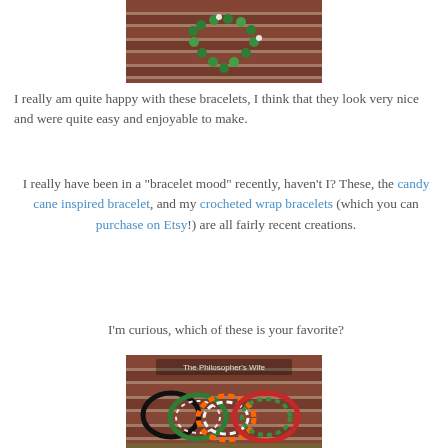[Figure (photo): Photo of a green beaded bracelet arranged in a heart shape on a red brick surface]
I really am quite happy with these bracelets, I think that they look very nice and were quite easy and enjoyable to make.
I really have been in a "bracelet mood" recently, haven't I? These, the candy cane inspired bracelet, and my crocheted wrap bracelets (which you can purchase on Etsy!) are all fairly recent creations.
I'm curious, which of these is your favorite?
[Figure (photo): Photo of multiple colorful beaded bracelets laid out on a red brick surface, with text 'The Philosopher's Wife' overlaid]